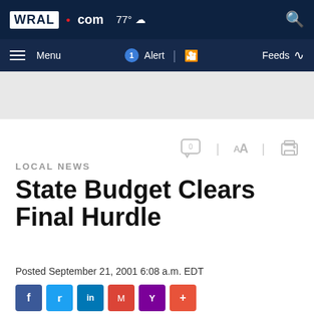WRAL.com  77°  Menu  1 Alert  Feeds
[Figure (screenshot): WRAL.com website navigation bar with logo, weather (77°), menu, alert badge, and feeds icons on dark navy background]
[Figure (other): Light gray advertisement banner area]
[Figure (other): Toolbar with comment icon (0), AA font size icon, and print icon]
LOCAL NEWS
State Budget Clears Final Hurdle
Posted September 21, 2001 6:08 a.m. EDT
[Figure (other): Social share buttons: Facebook, Twitter, LinkedIn, Gmail, Yahoo, Plus]